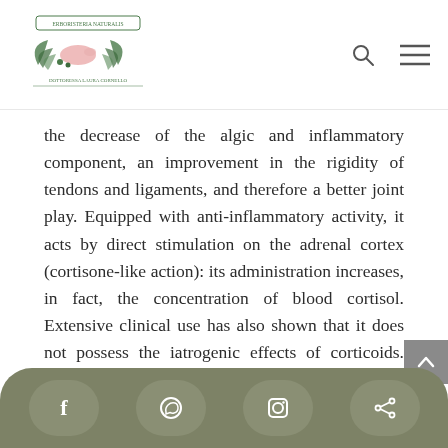Erboristeria Naturalis - Dottoressa Laura Cornello [logo and navigation]
the decrease of the algic and inflammatory component, an improvement in the rigidity of tendons and ligaments, and therefore a better joint play. Equipped with anti-inflammatory activity, it acts by direct stimulation on the adrenal cortex (cortisone-like action): its administration increases, in fact, the concentration of blood cortisol. Extensive clinical use has also shown that it does not possess the iatrogenic effects of corticoids. “Acting on the adrenal glands, the currant buds increase the general tone, the sexual tone, and ensure a general drainage from the body
Social share bar: Facebook, WhatsApp, Instagram, Share